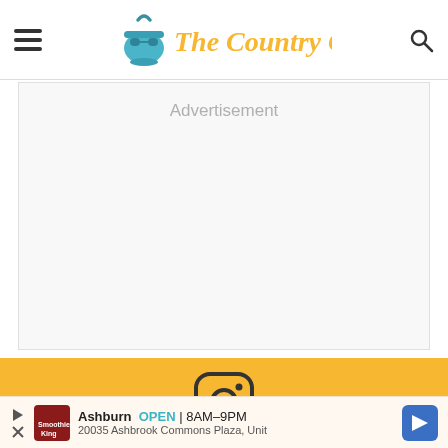[Figure (logo): The Country Cook website logo: teal pot with glasses icon and script text 'The Country Cook' in orange]
Advertisement
[Figure (infographic): Instagram icon (rounded square with circle and dot) followed by 'Did you make this recipe? Share it on Instagram @thecountrycook and' text on orange background]
Did you make this recipe?
Share it on Instagram @thecountrycook and
Ashburn  OPEN | 8AM–9PM  20035 Ashbrook Commons Plaza, Unit